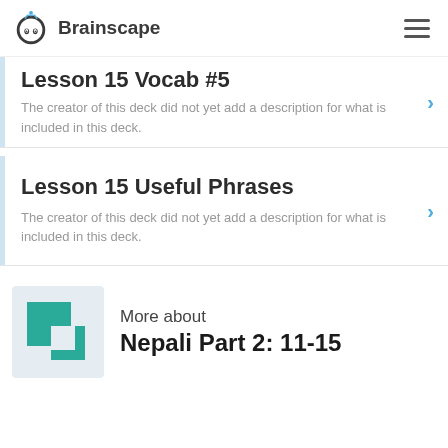Brainscape
Lesson 15 Vocab #5
The creator of this deck did not yet add a description for what is included in this deck.
Lesson 15 Useful Phrases
The creator of this deck did not yet add a description for what is included in this deck.
[Figure (logo): Brainscape two overlapping teal squares logo]
More about
Nepali Part 2: 11-15